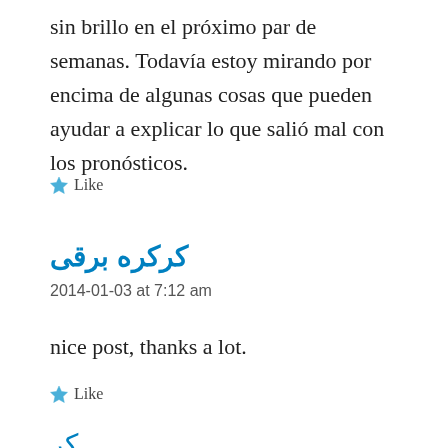sin brillo en el próximo par de semanas. Todavía estoy mirando por encima de algunas cosas que pueden ayudar a explicar lo que salió mal con los pronósticos.
★ Like
كركره برقى
2014-01-03 at 7:12 am
nice post, thanks a lot.
★ Like